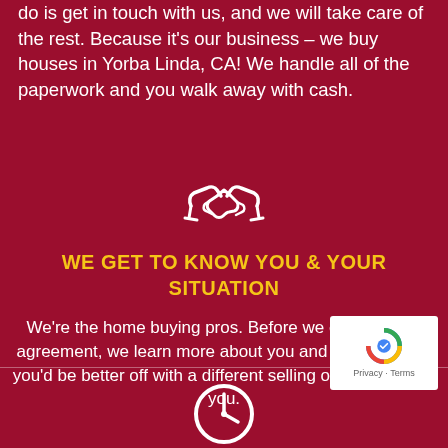do is get in touch with us, and we will take care of the rest. Because it's our business – we buy houses in Yorba Linda, CA! We handle all of the paperwork and you walk away with cash.
[Figure (illustration): White handshake icon on dark red background]
WE GET TO KNOW YOU & YOUR SITUATION
We're the home buying pros. Before we ever sign an agreement, we learn more about you and your home. If you'd be better off with a different selling option, we'll tell you.
[Figure (illustration): White clock icon on dark red background, partially visible at bottom]